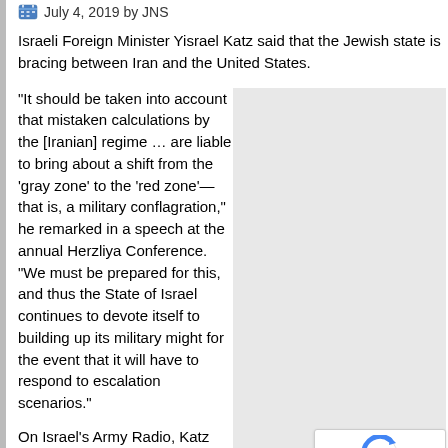July 4, 2019 by JNS
Israeli Foreign Minister Yisrael Katz said that the Jewish state is bracing between Iran and the United States.
“It should be taken into account that mistaken calculations by the [Iranian] regime … are liable to bring about a shift from the ‘gray zone’ to the ‘red zone’—that is, a military conflagration,” he remarked in a speech at the annual Herzliya Conference. “We must be prepared for this, and thus the State of Israel continues to devote itself to building up its military might for the event that it will have to respond to escalation scenarios.”
[Figure (other): Gray placeholder box on the right side of the page, with a reCAPTCHA privacy badge in the bottom-right corner.]
On Israel’s Army Radio, Katz said that “Iran has no chance in this war. Therefore, there